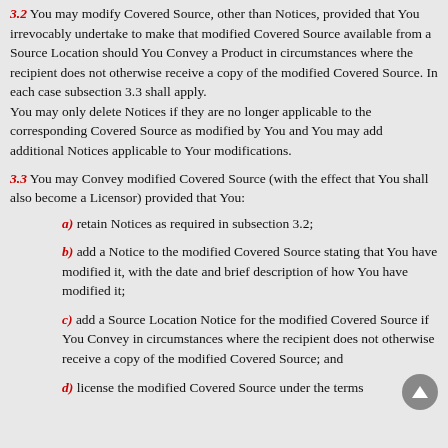3.2 You may modify Covered Source, other than Notices, provided that You irrevocably undertake to make that modified Covered Source available from a Source Location should You Convey a Product in circumstances where the recipient does not otherwise receive a copy of the modified Covered Source. In each case subsection 3.3 shall apply. You may only delete Notices if they are no longer applicable to the corresponding Covered Source as modified by You and You may add additional Notices applicable to Your modifications.
3.3 You may Convey modified Covered Source (with the effect that You shall also become a Licensor) provided that You:
a) retain Notices as required in subsection 3.2;
b) add a Notice to the modified Covered Source stating that You have modified it, with the date and brief description of how You have modified it;
c) add a Source Location Notice for the modified Covered Source if You Convey in circumstances where the recipient does not otherwise receive a copy of the modified Covered Source; and
d) license the modified Covered Source under the terms